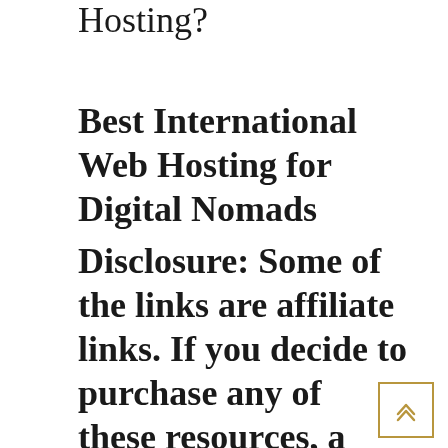Hosting?
Best International Web Hosting for Digital Nomads
Disclosure: Some of the links are affiliate links. If you decide to purchase any of these resources, a small commission may be earned at no additional cost to you. Are you a global blogger looking